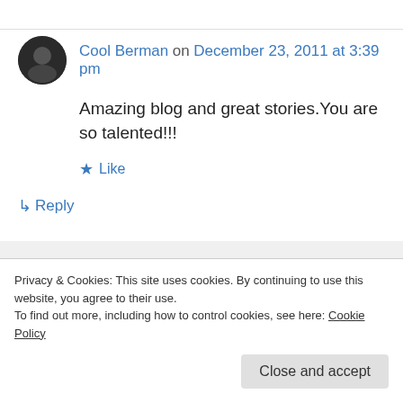Cool Berman on December 23, 2011 at 3:39 pm
Amazing blog and great stories.You are so talented!!!
★ Like
↳ Reply
Deidra Alexander on December 23, 2011 at 11:27 pm
Privacy & Cookies: This site uses cookies. By continuing to use this website, you agree to their use.
To find out more, including how to control cookies, see here: Cookie Policy
Close and accept